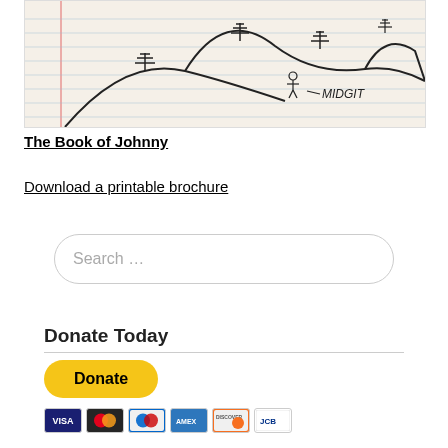[Figure (illustration): Hand-drawn sketch on lined notebook paper showing mountains, pine trees, and a small stick figure labeled 'MIDGIT' in pen/ink style]
The Book of Johnny
Download a printable brochure
Search …
Donate Today
[Figure (other): PayPal Donate button (yellow rounded rectangle) with credit card icons below: Visa, Mastercard, Maestro, American Express, Discover, JCB]